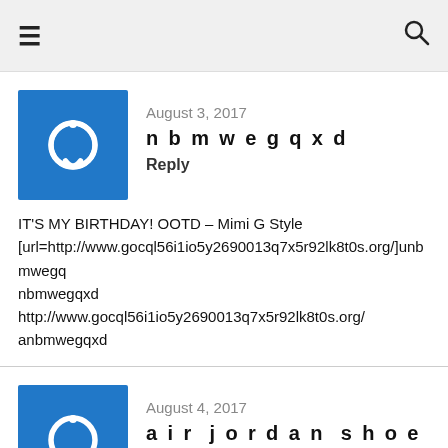≡  🔍
August 3, 2017
nbmwegqxd
Reply
IT'S MY BIRTHDAY! OOTD – Mimi G Style [url=http://www.gocql56i1io5y2690013q7x5r92lk8t0s.org/]unbmwegqxd nbmwegqxd http://www.gocql56i1io5y2690013q7x5r92lk8t0s.org/ anbmwegqxd
August 4, 2017
air jordan shoes
Reply
The revelation guus hiddink said willing to coach the team's Sven-goran eriksson in May?